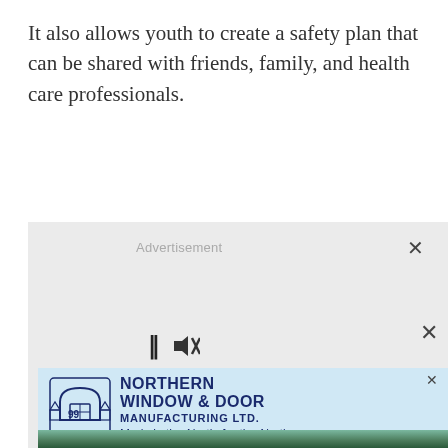It also allows youth to create a safety plan that can be shared with friends, family, and health care professionals.
[Figure (screenshot): Advertisement placeholder box with grey background, showing 'Advertisement' label and close X button. Contains media controls (pause and mute icons) at bottom left and a nested advertisement for Northern Window & Door Manufacturing Ltd. with logo and tagline 'Made in the North, for the North.' A landscape strip with trees and hills is visible at the very bottom.]